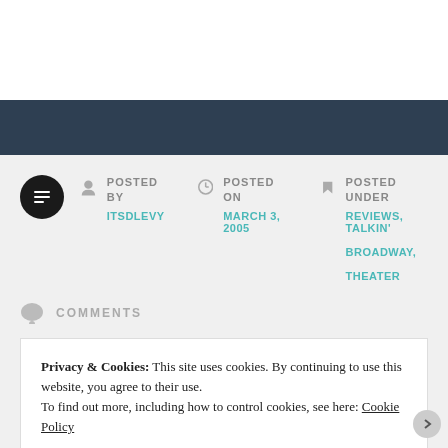POSTED BY ITSDLEVY | POSTED ON MARCH 3, 2005 | POSTED UNDER REVIEWS, TALKIN' BROADWAY, THEATER
COMMENTS
Privacy & Cookies: This site uses cookies. By continuing to use this website, you agree to their use. To find out more, including how to control cookies, see here: Cookie Policy
Close and accept